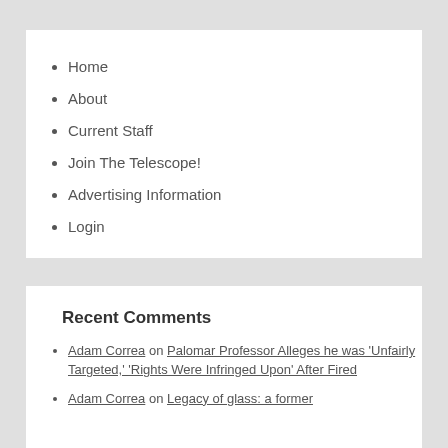Home
About
Current Staff
Join The Telescope!
Advertising Information
Login
Recent Comments
Adam Correa on Palomar Professor Alleges he was 'Unfairly Targeted,' 'Rights Were Infringed Upon' After Fired
Adam Correa on Legacy of glass: a former